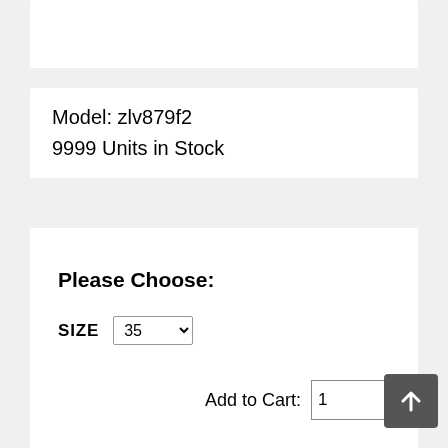Model: zlv879f2
9999 Units in Stock
Please Choose:
SIZE  35
Add to Cart:  1